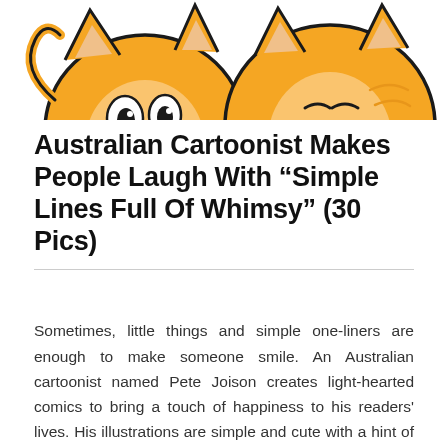[Figure (illustration): Cartoon illustration of two orange cat faces with exaggerated expressions, partially cropped at top of page]
Australian Cartoonist Makes People Laugh With “Simple Lines Full Of Whimsy” (30 Pics)
Sometimes, little things and simple one-liners are enough to make someone smile. An Australian cartoonist named Pete Joison creates light-hearted comics to bring a touch of happiness to his readers' lives. His illustrations are simple and cute with a hint of quirky humor.
Like deMilked on Facebook  Like 2.7M
READ MORE